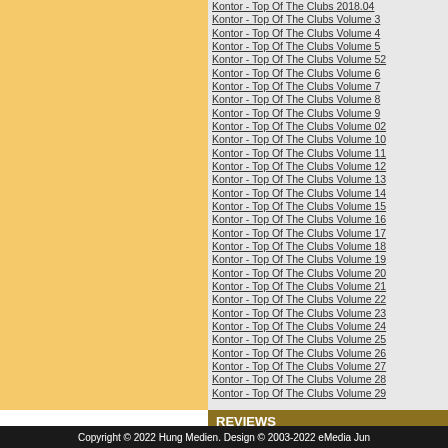Kontor - Top Of The Clubs 2018.04
Kontor - Top Of The Clubs Volume 3
Kontor - Top Of The Clubs Volume 4
Kontor - Top Of The Clubs Volume 5
Kontor - Top Of The Clubs Volume 52
Kontor - Top Of The Clubs Volume 6
Kontor - Top Of The Clubs Volume 7
Kontor - Top Of The Clubs Volume 8
Kontor - Top Of The Clubs Volume 9
Kontor - Top Of The Clubs Volume 02
Kontor - Top Of The Clubs Volume 10
Kontor - Top Of The Clubs Volume 11
Kontor - Top Of The Clubs Volume 12
Kontor - Top Of The Clubs Volume 13
Kontor - Top Of The Clubs Volume 14
Kontor - Top Of The Clubs Volume 15
Kontor - Top Of The Clubs Volume 16
Kontor - Top Of The Clubs Volume 17
Kontor - Top Of The Clubs Volume 18
Kontor - Top Of The Clubs Volume 19
Kontor - Top Of The Clubs Volume 20
Kontor - Top Of The Clubs Volume 21
Kontor - Top Of The Clubs Volume 22
Kontor - Top Of The Clubs Volume 23
Kontor - Top Of The Clubs Volume 24
Kontor - Top Of The Clubs Volume 25
Kontor - Top Of The Clubs Volume 26
Kontor - Top Of The Clubs Volume 27
Kontor - Top Of The Clubs Volume 28
Kontor - Top Of The Clubs Volume 29
REVIEWS
Bisher keine Reviews.
Kommentar hinzufügen und bewerten
Copyright © 2022 Hung Medien. Design © 2003-2022 eMedia Jun